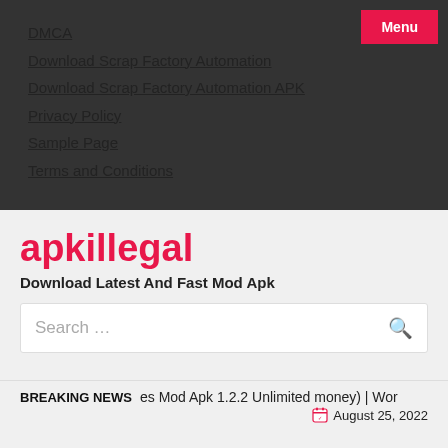DMCA
Download Scrap Factory Automation
Download Scrap Factory Automation APK
Privacy Policy
Sample Page
Terms and Conditions
apkillegal
Download Latest And Fast Mod Apk
Search …
BREAKING NEWS   es Mod Apk 1.2.2 Unlimited money)  |  Wor
August 25, 2022